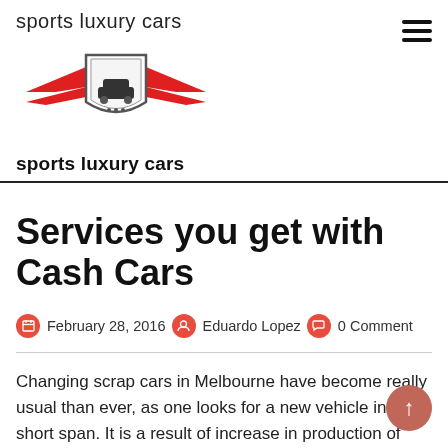sports luxury cars
[Figure (logo): Sports luxury cars logo with red wings and a car silhouette in a shield shape]
sports luxury cars
Services you get with Cash Cars
February 28, 2016   Eduardo Lopez   0 Comment
Changing scrap cars in Melbourne have become really usual than ever, as one looks for a new vehicle in a short span. It is a result of increase in production of new cars and models in the automobile market.